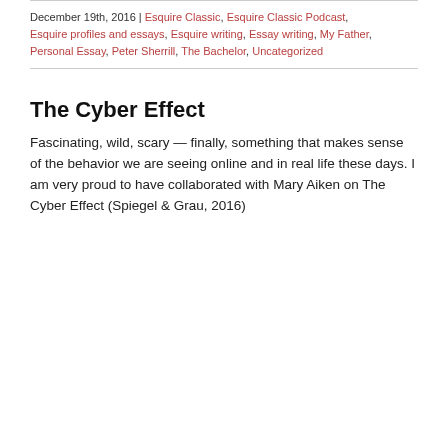December 19th, 2016 | Esquire Classic, Esquire Classic Podcast, Esquire profiles and essays, Esquire writing, Essay writing, My Father, Personal Essay, Peter Sherrill, The Bachelor, Uncategorized
The Cyber Effect
Fascinating, wild, scary — finally, something that makes sense of the behavior we are seeing online and in real life these days. I am very proud to have collaborated with Mary Aiken on The Cyber Effect (Spiegel & Grau, 2016)
[Figure (photo): Photo of a book titled 'The Cyber Effect' placed on a textured carpet/fabric surface. A dark scroll-to-top button with an up arrow is visible in the bottom right.]